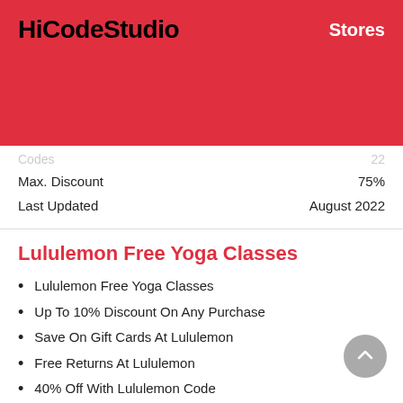HiCodeStudio  Stores
Max. Discount  75%
Last Updated  August 2022
Lululemon Free Yoga Classes
Lululemon Free Yoga Classes
Up To 10% Discount On Any Purchase
Save On Gift Cards At Lululemon
Free Returns At Lululemon
40% Off With Lululemon Code